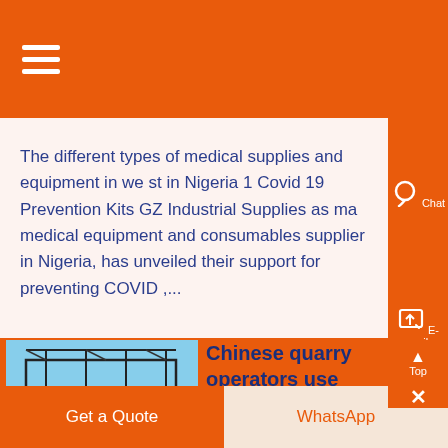Menu / Hamburger navigation header
The different types of medical supplies and equipment in we st in Nigeria 1 Covid 19 Prevention Kits GZ Industrial Supplies as ma medical equipment and consumables supplier in Nigeria, has unveiled their support for preventing COVID ,...
[Figure (photo): Outdoor steel structure frame building with blue sky background]
Chinese quarry operators use
Get a Quote | WhatsApp